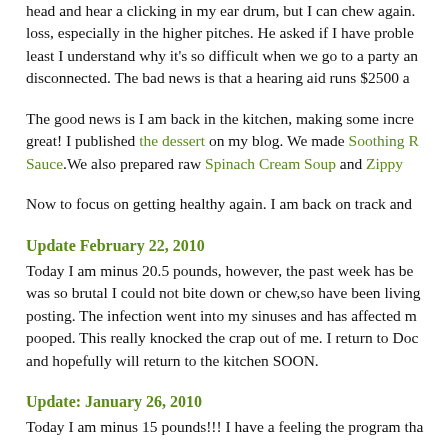head and hear a clicking in my ear drum, but I can chew again. loss, especially in the higher pitches. He asked if I have proble least I understand why it's so difficult when we go to a party an disconnected. The bad news is that a hearing aid runs $2500 a
The good news is I am back in the kitchen, making some incre great! I published the dessert on my blog. We made Soothing R Sauce.We also prepared raw Spinach Cream Soup and Zippy
Now to focus on getting healthy again. I am back on track and
Update February 22, 2010
Today I am minus 20.5 pounds, however, the past week has be was so brutal I could not bite down or chew,so have been living posting. The infection went into my sinuses and has affected m pooped. This really knocked the crap out of me. I return to Doc and hopefully will return to the kitchen SOON.
Update:  January 26, 2010
Today I am minus 15 pounds!!! I have a feeling the program tha
I have been chopping up celery, raw pecans and raw sesame s